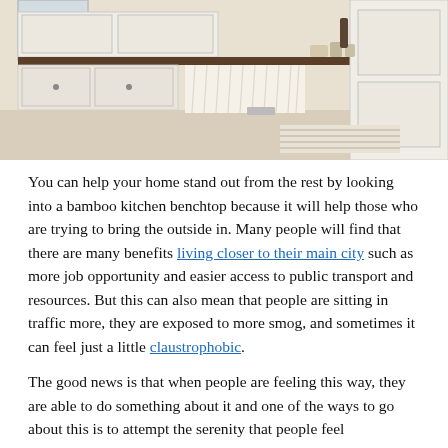[Figure (photo): Interior photo of a white farmhouse-style kitchen with white cabinetry, a dark wood benchtop, cream linen curtains under the sink, and light tile flooring with a striped rug.]
You can help your home stand out from the rest by looking into a bamboo kitchen benchtop because it will help those who are trying to bring the outside in. Many people will find that there are many benefits living closer to their main city such as more job opportunity and easier access to public transport and resources. But this can also mean that people are sitting in traffic more, they are exposed to more smog, and sometimes it can feel just a little claustrophobic.
The good news is that when people are feeling this way, they are able to do something about it and one of the ways to go about this is to attempt the serenity that people feel